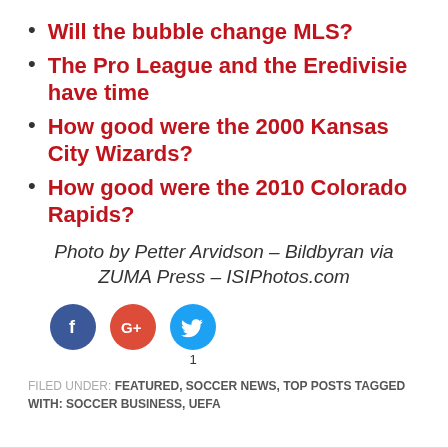Will the bubble change MLS?
The Pro League and the Eredivisie have time
How good were the 2000 Kansas City Wizards?
How good were the 2010 Colorado Rapids?
Photo by Petter Arvidson – Bildbyran via ZUMA Press – ISIPhotos.com
[Figure (infographic): Social share buttons: Facebook (blue circle), Google+ (red circle), Twitter (light blue circle) with count of 1]
FILED UNDER: FEATURED, SOCCER NEWS, TOP POSTS TAGGED WITH: SOCCER BUSINESS, UEFA